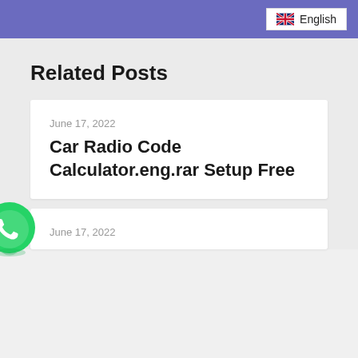🇬🇧 English
Related Posts
June 17, 2022
Car Radio Code Calculator.eng.rar Setup Free
June 17, 2022
[Figure (logo): WhatsApp green phone icon button]